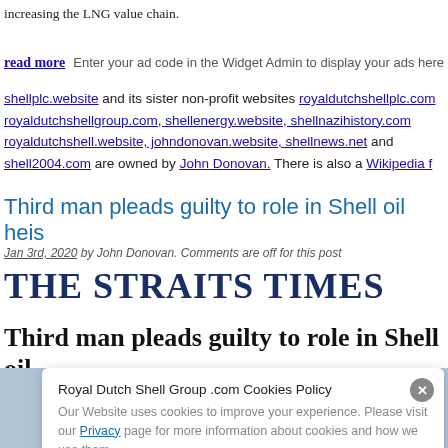increasing the LNG value chain.
read more   Enter your ad code in the Widget Admin to display your ads here
shellplc.website and its sister non-profit websites royaldutchshellplc.com royaldutchshellgroup.com, shellenergy.website, shellnazihistory.com royaldutchshell.website, johndonovan.website, shellnews.net and shell2004.com are owned by John Donovan. There is also a Wikipedia f
Third man pleads guilty to role in Shell oil heis
Jan 3rd, 2020 by John Donovan. Comments are off for this post
[Figure (logo): The Straits Times newspaper logo in bold dark navy serif uppercase text]
Third man pleads guilty to role in Shell oil
Royal Dutch Shell Group .com Cookies Policy
Our Website uses cookies to improve your experience. Please visit our Privacy page for more information about cookies and how we use them.